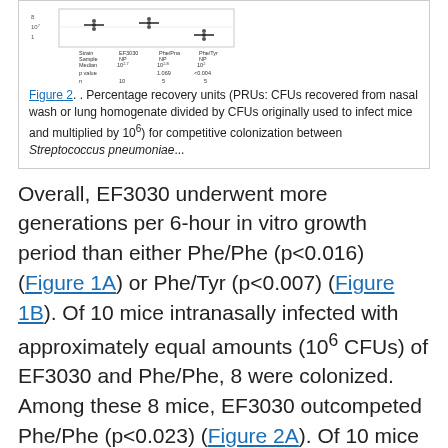[Figure (other): Partial view of a dot plot figure showing Strain, Sample, Median, p value, n rows for EF3030, Phe/Pna NP, and Phe/Tyr NP columns with values like 10^2.7, 10^2.8, 10^2, 1.069, <0.004, 10, 5, 5]
Figure 2. . Percentage recovery units (PRUs: CFUs recovered from nasal wash or lung homogenate divided by CFUs originally used to infect mice and multiplied by 10^6) for competitive colonization between Streptococcus pneumoniae...
Overall, EF3030 underwent more generations per 6-hour in vitro growth period than either Phe/Phe (p<0.016) (Figure 1A) or Phe/Tyr (p<0.007) (Figure 1B). Of 10 mice intranasally infected with approximately equal amounts (10^6 CFUs) of EF3030 and Phe/Phe, 8 were colonized. Among these 8 mice, EF3030 outcompeted Phe/Phe (p<0.023) (Figure 2A). Of 10 mice intranasally infected with approximately equal amounts of EF3030 and Phe/Tyr, 8 were colonized. Among these 8 mice, EF3030 outcompeted Phe/Tyr (p<0.008) (Figure 2B).